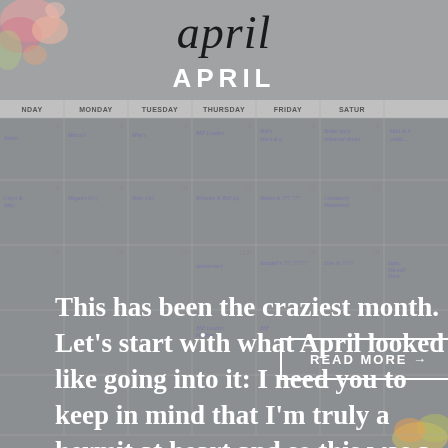april
APRIL
[Figure (illustration): April calendar background with floral decoration and event entries in purple script. Days of the week headers shown: NDAY, MONDAY, TUESDAY, THURSDAY, FRIDAY, SATUR. Calendar entries visible in purple italic script across the weeks.]
This has been the craziest month. Let's start with what April looked like going into it: I need you to keep in mind that I'm truly a hermit at heart and so this was a lot of stuff. Easter was great. We went to church at LifeGate and then came home to make some delicious Easter [...]
READ MORE →